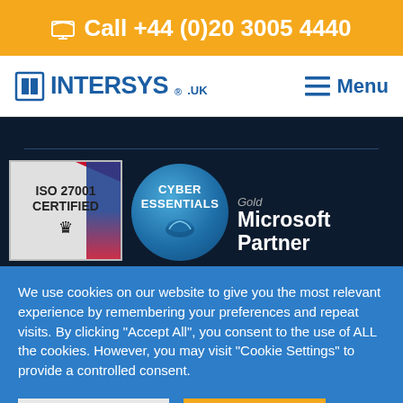Call +44 (0)20 3005 4440
[Figure (logo): Intersys.uk logo with navigation menu button]
[Figure (infographic): Dark section with ISO 27001 Certified badge, Cyber Essentials badge, and Gold Microsoft Partner logo]
We use cookies on our website to give you the most relevant experience by remembering your preferences and repeat visits. By clicking “Accept All”, you consent to the use of ALL the cookies. However, you may visit “Cookie Settings” to provide a controlled consent.
Cookie Settings
Accept All